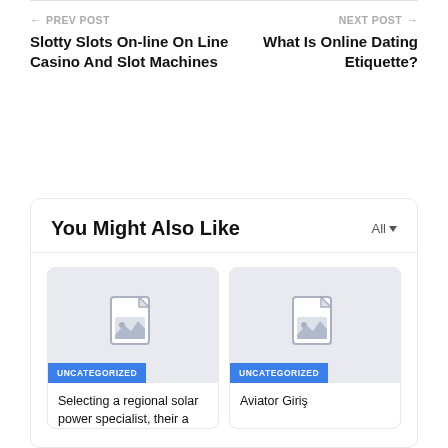← PREV POST
Slotty Slots On-line On Line Casino And Slot Machines
NEXT POST →
What Is Online Dating Etiquette?
You Might Also Like
[Figure (other): Placeholder image with document icon for blog post card]
UNCATEGORIZED
Selecting a regional solar power specialist, their a
[Figure (other): Placeholder image with document icon for blog post card]
UNCATEGORIZED
Aviator Giriş